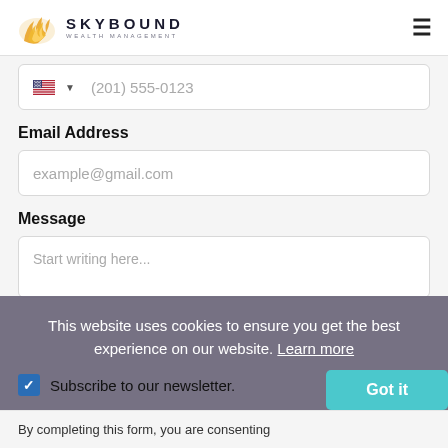SKYBOUND WEALTH MANAGEMENT
(201) 555-0123
Email Address
example@gmail.com
Message
Start writing here...
This website uses cookies to ensure you get the best experience on our website. Learn more
Subscribe to our newsletter.
Got it
By completing this form, you are consenting